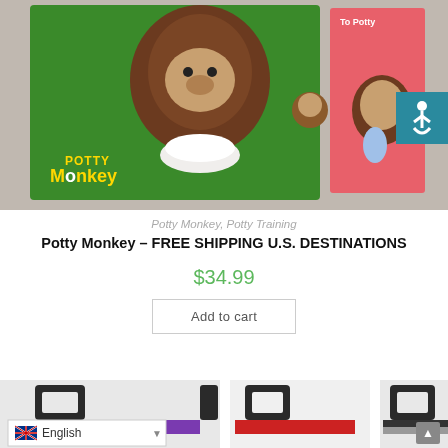[Figure (photo): Product photo showing Potty Monkey stuffed animal toy in green packaging box and a children's book about potty training]
Potty Monkey, Potty Training
Potty Monkey – FREE SHIPPING U.S. DESTINATIONS
$34.99
Add to cart
[Figure (photo): Bottom portion showing product images of colorful straps/buckles and language selector showing English with UK flag]